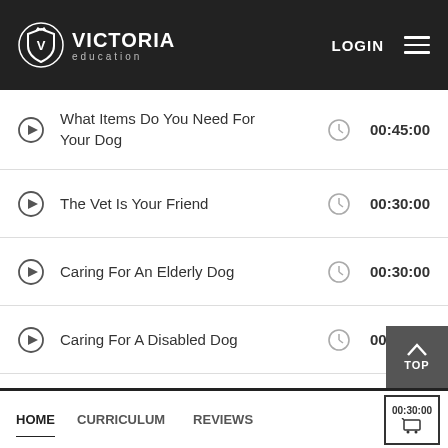VICTORIA education | LOGIN
What Items Do You Need For Your Dog — 00:45:00
The Vet Is Your Friend — 00:30:00
Caring For An Elderly Dog — 00:30:00
Caring For A Disabled Dog — 00:15:00
Caring For Small Dogs — 00:15:00
HOME   CURRICULUM   REVIEWS   00:30:00